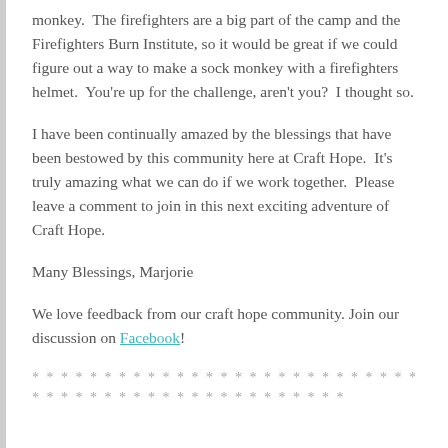monkey.  The firefighters are a big part of the camp and the Firefighters Burn Institute, so it would be great if we could figure out a way to make a sock monkey with a firefighters helmet.  You're up for the challenge, aren't you?  I thought so.
I have been continually amazed by the blessings that have been bestowed by this community here at Craft Hope.  It's truly amazing what we can do if we work together.  Please leave a comment to join in this next exciting adventure of Craft Hope.
Many Blessings, Marjorie
We love feedback from our craft hope community. Join our discussion on Facebook!
* * * * * * * * * * * * * * * * * * * * * * * * * * * * * * * * * * * * * * * * * * * * * * * * * * *